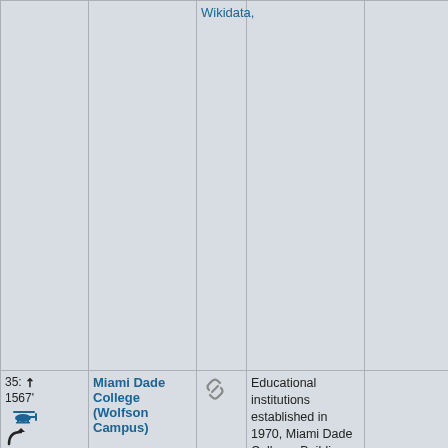| #/distance | Name | Link | Categories | Extra |
| --- | --- | --- | --- | --- |
|  |  | Wikidata, |  |  |
| 35: ↗ 1567' [helicopter] ↪ [car] [pedestrian] | Miami Dade College (Wolfson Campus) | [link] | Educational institutions established in 1970, Miami Dade College, Buildings and structures in Miami, Florid... |  |